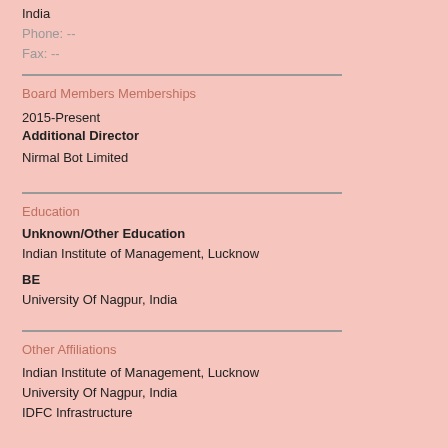India
Phone: --
Fax: --
Board Members Memberships
2015-Present
Additional Director
Nirmal Bot Limited
Education
Unknown/Other Education
Indian Institute of Management, Lucknow
BE
University Of Nagpur, India
Other Affiliations
Indian Institute of Management, Lucknow
University Of Nagpur, India
IDFC Infrastructure